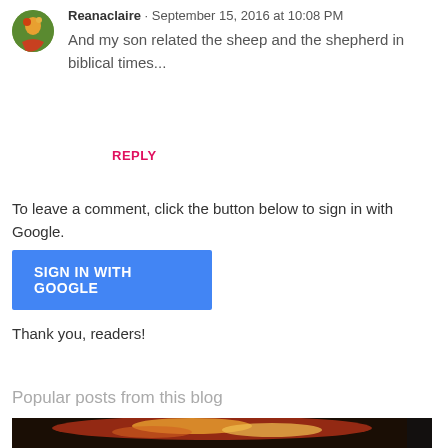Reanaclaire · September 15, 2016 at 10:08 PM
And my son related the sheep and the shepherd in biblical times...
REPLY
To leave a comment, click the button below to sign in with Google.
[Figure (other): Blue 'SIGN IN WITH GOOGLE' button]
Thank you, readers!
Popular posts from this blog
[Figure (photo): Food photo at the bottom of the page]